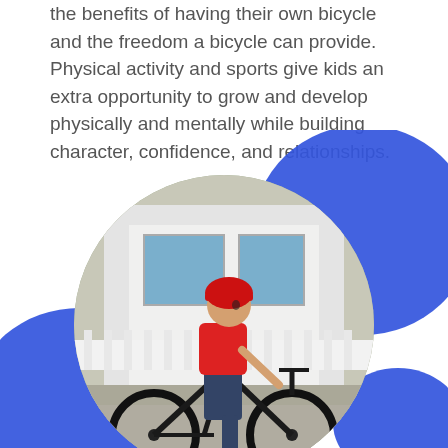the benefits of having their own bicycle and the freedom a bicycle can provide. Physical activity and sports give kids an extra opportunity to grow and develop physically and mentally while building character, confidence, and relationships.
[Figure (photo): A child wearing a red helmet and red shirt riding a black bicycle in front of a white building with a fence, with blue decorative blob shapes in the background.]